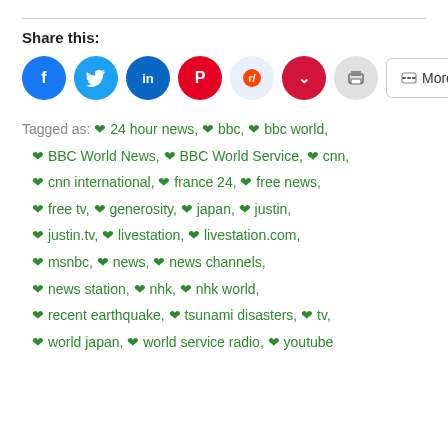Share this:
[Figure (infographic): Social share buttons: Facebook (blue circle), Twitter (blue circle), LinkedIn (blue circle), Pinterest (red circle), Reddit (light blue circle), Pocket (red circle), Print (grey circle), More (rounded rectangle button)]
Tagged as: 24 hour news, bbc, bbc world, BBC World News, BBC World Service, cnn, cnn international, france 24, free news, free tv, generosity, japan, justin, justin.tv, livestation, livestation.com, msnbc, news, news channels, news station, nhk, nhk world, recent earthquake, tsunami disasters, tv, world japan, world service radio, youtube